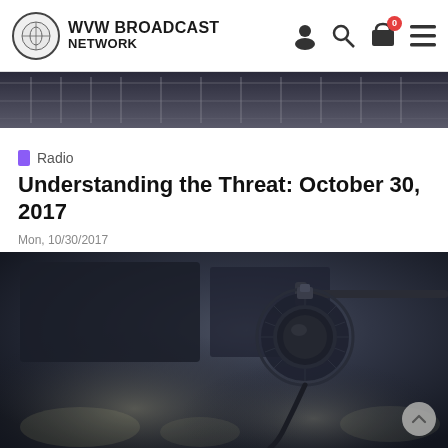WVW BROADCAST NETWORK
[Figure (photo): Top strip of a radio/microphone setup, dark bluish-grey tones]
Radio
Understanding the Threat: October 30, 2017
Mon, 10/30/2017
This week UTT's Chris Gaubatz gives his report from his trip to Dearborn, Michigan - aka Dearbornistan - and the Islamic takeover of many areas and ne
[Figure (photo): Close-up photo of a professional microphone in a radio studio, dark moody lighting]